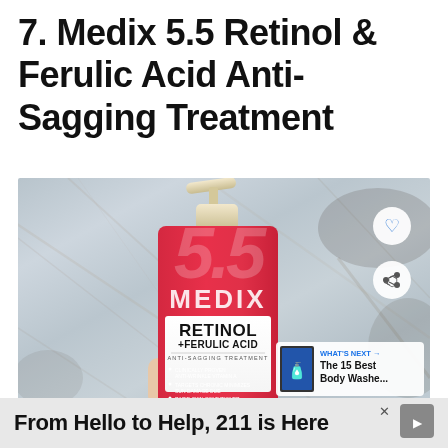7. Medix 5.5 Retinol & Ferulic Acid Anti-Sagging Treatment
[Figure (photo): Photo of Medix 5.5 Retinol & Ferulic Acid Anti-Sagging Treatment bottle (red pump bottle) held against a marble surface background, with heart and share buttons visible and a 'What's Next' overlay showing 'The 15 Best Body Washe...']
From Hello to Help, 211 is Here